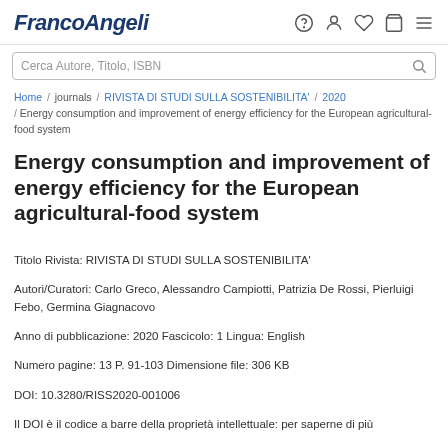FrancoAngeli
Cerca Autore, Titolo, ISBN
Home / journals / RIVISTA DI STUDI SULLA SOSTENIBILITA' / 2020 / Energy consumption and improvement of energy efficiency for the European agricultural-food system
Energy consumption and improvement of energy efficiency for the European agricultural-food system
Titolo Rivista: RIVISTA DI STUDI SULLA SOSTENIBILITA'
Autori/Curatori: Carlo Greco, Alessandro Campiotti, Patrizia De Rossi, Pierluigi Febo, Germina Giagnacovo
Anno di pubblicazione: 2020 Fascicolo: 1 Lingua: English
Numero pagine: 13 P. 91-103 Dimensione file: 306 KB
DOI: 10.3280/RISS2020-001006
Il DOI è il codice a barre della proprietà intellettuale: per saperne di più
clicca qui